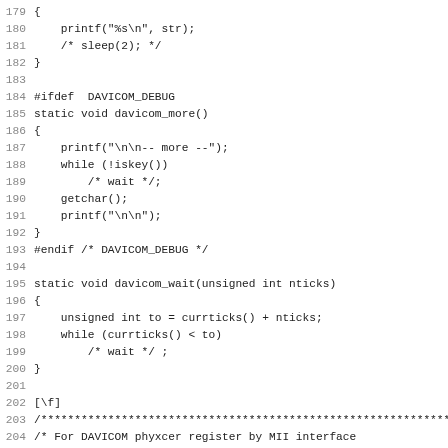Source code listing lines 179-211, C programming language code for DAVICOM network driver including davicom_more() and davicom_wait() functions and beginning of phy_read() function.